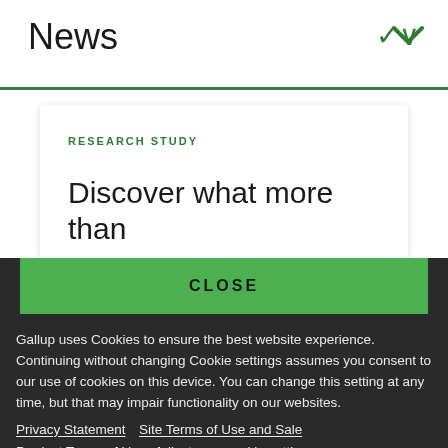News
RESEARCH STUDY
Discover what more than
CLOSE
Gallup uses Cookies to ensure the best website experience. Continuing without changing Cookie settings assumes you consent to our use of cookies on this device. You can change this setting at any time, but that may impair functionality on our websites.
Privacy Statement   Site Terms of Use and Sale
Product Terms of Use   Adjust your cookie settings.